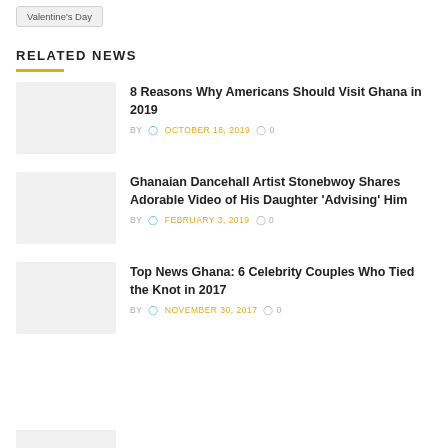Valentine's Day
RELATED NEWS
8 Reasons Why Americans Should Visit Ghana in 2019
BY  OCTOBER 18, 2019  0
Ghanaian Dancehall Artist Stonebwoy Shares Adorable Video of His Daughter 'Advising' Him
BY  FEBRUARY 3, 2019  0
Top News Ghana: 6 Celebrity Couples Who Tied the Knot in 2017
BY  NOVEMBER 30, 2017  0